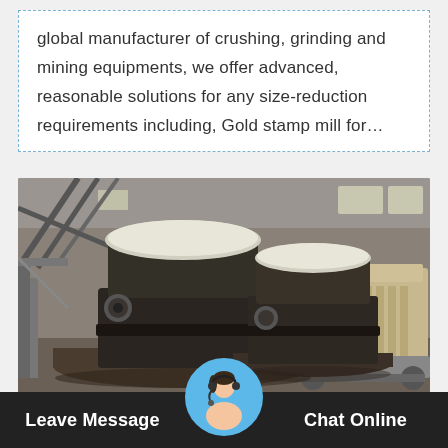global manufacturer of crushing, grinding and mining equipments, we offer advanced, reasonable solutions for any size-reduction requirements including, Gold stamp mill for…
[Figure (photo): Industrial photograph of large mining/grinding mill machines (dark cylindrical grinding mills) inside a factory warehouse, with additional machinery visible in the background.]
Leave Message   Chat Online